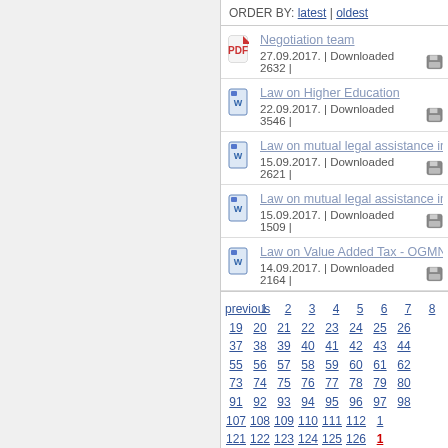ORDER BY: latest | oldest
Negotiation team
27.09.2017. | Downloaded 2632 |
Law on Higher Education
22.09.2017. | Downloaded 3546 |
Law on mutual legal assistance in cri...
15.09.2017. | Downloaded 2621 |
Law on mutual legal assistance in cri...
15.09.2017. | Downloaded 1509 |
Law on Value Added Tax - OGMN -5...
14.09.2017. | Downloaded 2164 |
previous 1 2 3 4 5 6 7 8
19 20 21 22 23 24 25 26
37 38 39 40 41 42 43 44
55 56 57 58 59 60 61 62
73 74 75 76 77 78 79 80
91 92 93 94 95 96 97 98
107 108 109 110 111 112 1
121 122 123 124 125 126 127
135 136 137 138 139 140 1
149 150 151 152 153 154